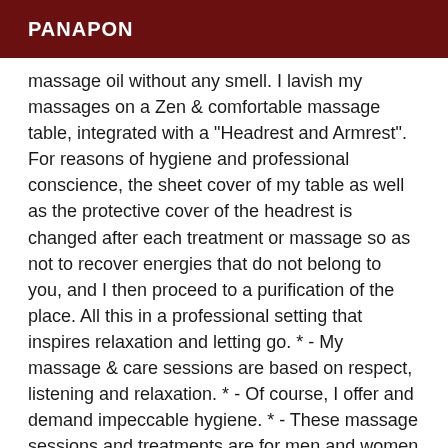PANAPON
massage oil without any smell. I lavish my massages on a Zen & comfortable massage table, integrated with a "Headrest and Armrest". For reasons of hygiene and professional conscience, the sheet cover of my table as well as the protective cover of the headrest is changed after each treatment or massage so as not to recover energies that do not belong to you, and I then proceed to a purification of the place. All this in a professional setting that inspires relaxation and letting go. * - My massage & care sessions are based on respect, listening and relaxation. * - Of course, I offer and demand impeccable hygiene. * - These massage sessions and treatments are for men and women over 18 years old. Single rate with or without Lingam Massage. - 1h= 100$ / 1h30= 150$. - I receive you at my Raymondville practice. Appointments & additional information are made in person, it's more humane. My reception hours: From 7:00